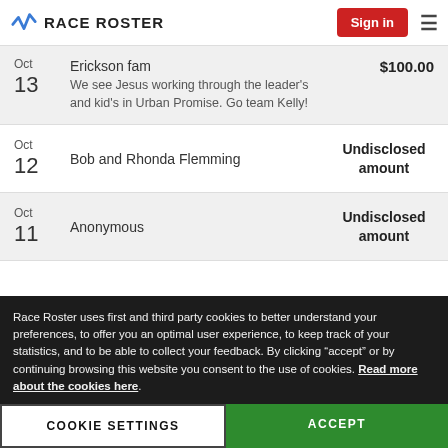RACE ROSTER | Sign in
| Date | Donor | Amount |
| --- | --- | --- |
| Oct 13 | Erickson fam
We see Jesus working through the leader's and kid's in Urban Promise. Go team Kelly! | $100.00 |
| Oct 12 | Bob and Rhonda Flemming | Undisclosed amount |
| Oct 11 | Anonymous | Undisclosed amount |
Race Roster uses first and third party cookies to better understand your preferences, to offer you an optimal user experience, to keep track of your statistics, and to be able to collect your feedback. By clicking “accept” or by continuing browsing this website you consent to the use of cookies. Read more about the cookies here.
COOKIE SETTINGS | ACCEPT